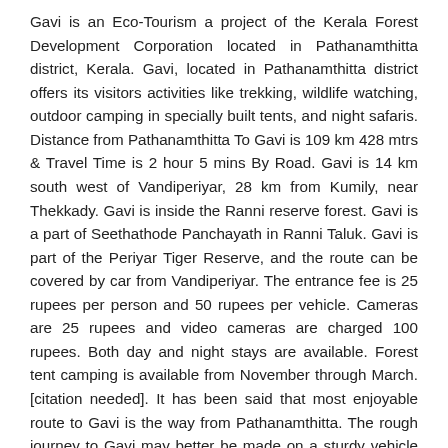Gavi is an Eco-Tourism a project of the Kerala Forest Development Corporation located in Pathanamthitta district, Kerala. Gavi, located in Pathanamthitta district offers its visitors activities like trekking, wildlife watching, outdoor camping in specially built tents, and night safaris. Distance from Pathanamthitta To Gavi is 109 km 428 mtrs & Travel Time is 2 hour 5 mins By Road. Gavi is 14 km south west of Vandiperiyar, 28 km from Kumily, near Thekkady. Gavi is inside the Ranni reserve forest. Gavi is a part of Seethathode Panchayath in Ranni Taluk. Gavi is part of the Periyar Tiger Reserve, and the route can be covered by car from Vandiperiyar. The entrance fee is 25 rupees per person and 50 rupees per vehicle. Cameras are 25 rupees and video cameras are charged 100 rupees. Both day and night stays are available. Forest tent camping is available from November through March.[citation needed]. It has been said that most enjoyable route to Gavi is the way from Pathanamthitta. The rough journey to Gavi may better be made on a sturdy vehicle like a jeep. Entry passes must be obtained from the Forest Check Post en route at Vallakkadavu. Advance booking with